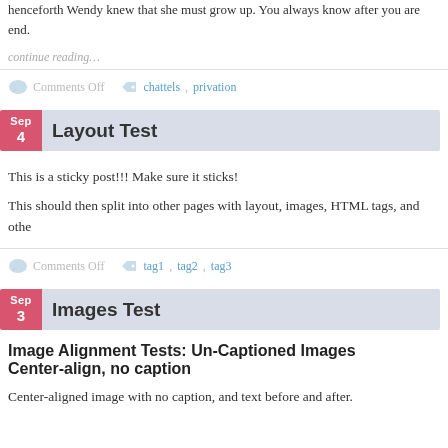henceforth Wendy knew that she must grow up. You always know after you are end.
continue reading…
Comments Off   chattels, privation
Layout Test
This is a sticky post!!! Make sure it sticks!
This should then split into other pages with layout, images, HTML tags, and othe
Comments Off   tag1, tag2, tag3
Images Test
Image Alignment Tests: Un-Captioned Images
Center-align, no caption
Center-aligned image with no caption, and text before and after.